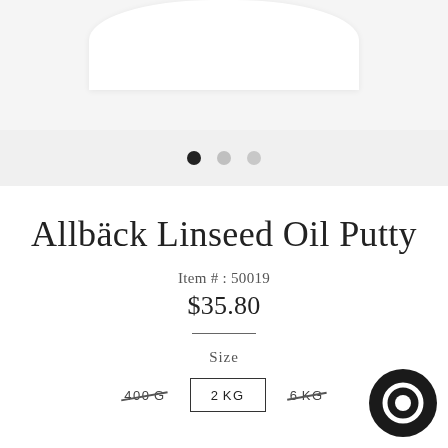[Figure (photo): Top portion of a white cylindrical container/jar product on a light gray background]
[Figure (other): Three dot carousel navigation indicators: first dot filled black (active), second and third dots gray]
Allbäck Linseed Oil Putty
Item # : 50019
$35.80
Size
400 G
2 KG
6 KG
[Figure (other): Round dark chat/messaging button icon in the bottom right corner]